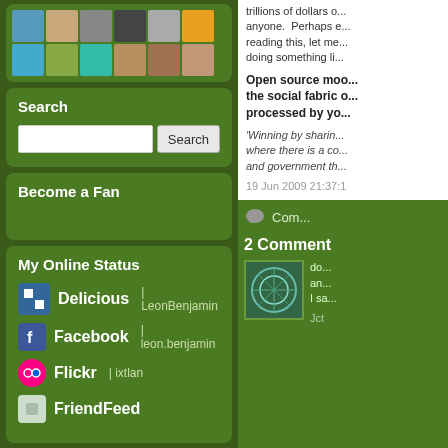[Figure (screenshot): Grid of user avatar thumbnail images in a widget panel]
Search
Search input and button
Become a Fan
My Online Status
Delicious | LeonBenjamin
Facebook | leon.benjamin
Flickr | ixtlan
FriendFeed
trillions of dollars o... anyone. Perhaps e... reading this, let me... doing something li...
Open source moo... the social fabric o... processed by yo...
'Winning by sharin... where there is a co... and government th...
19 Jun 2009 21:37:1
Com...
2 Comment
do... an... I sa...
Jct